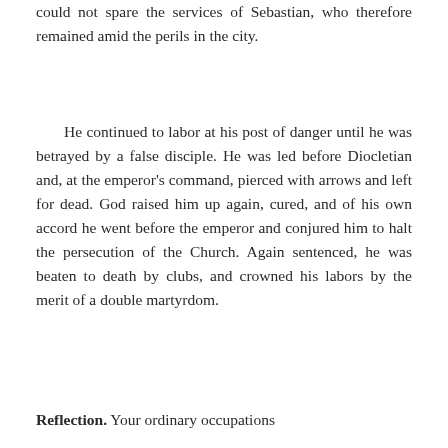could not spare the services of Sebastian, who therefore remained amid the perils in the city.
He continued to labor at his post of danger until he was betrayed by a false disciple. He was led before Diocletian and, at the emperor's command, pierced with arrows and left for dead. God raised him up again, cured, and of his own accord he went before the emperor and conjured him to halt the persecution of the Church. Again sentenced, he was beaten to death by clubs, and crowned his labors by the merit of a double martyrdom.
Reflection. Your ordinary occupations